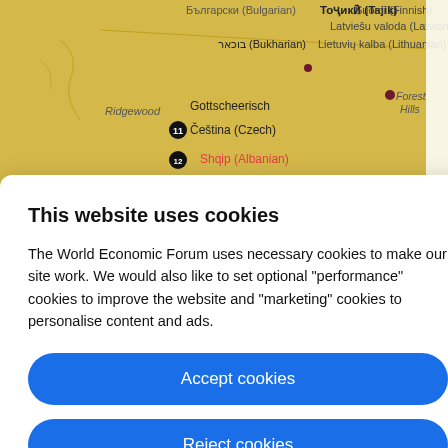[Figure (map): Partial map background showing language labels including Bulgarian, Tajik, Latvian, Lithuanian, Bukharian, Gottscheerisch, Czech, Albanian and place names Ridgewood, Forest Hills]
This website uses cookies
The World Economic Forum uses necessary cookies to make our site work. We would also like to set optional "performance" cookies to improve the website and "marketing" cookies to personalise content and ads.
Accept cookies
Reject cookies
Cookie settings
Jaishanese, Sichuanese, and other dialects, Korean and